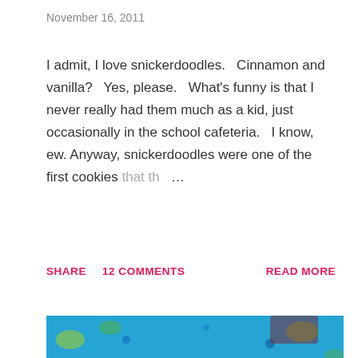November 16, 2011
I admit, I love snickerdoodles.   Cinnamon and vanilla?   Yes, please.   What's funny is that I never really had them much as a kid, just occasionally in the school cafeteria.   I know, ew.   Anyway, snickerdoodles were one of the first cookies that th …
SHARE   12 COMMENTS   READ MORE
[Figure (photo): Two large dark brown crinkled cookies on a white plate, with a colorful blue patterned fabric background]